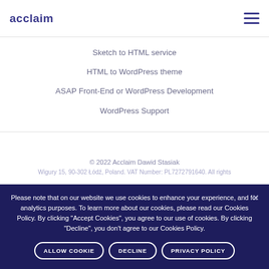acclaim
Sketch to HTML service
HTML to WordPress theme
ASAP Front-End or WordPress Development
WordPress Support
© 2022 Acclaim Dawid Stasiak
Wigury 15, 90-302 Łódź, Poland. VAT Number: PL7272791640. All rights
Please note that on our website we use cookies to enhance your experience, and for analytics purposes. To learn more about our cookies, please read our Cookies Policy. By clicking "Accept Cookies", you agree to our use of cookies. By clicking "Decline", you don't agree to our Cookies Policy.
ALLOW COOKIE   DECLINE   PRIVACY POLICY